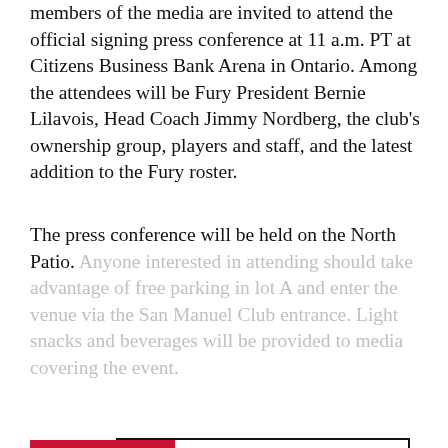members of the media are invited to attend the official signing press conference at 11 a.m. PT at Citizens Business Bank Arena in Ontario. Among the attendees will be Fury President Bernie Lilavois, Head Coach Jimmy Nordberg, the club's ownership group, players and staff, and the latest addition to the Fury roster.
The press conference will be held on the North Patio. Anyone interested in attending should take advantage of free parking in lot A and enter the venue via the San Manuel Club entrance. Light snacks and beverages will be provided to media covering the event.
CONTINUE READING
YOU MAY LIKE